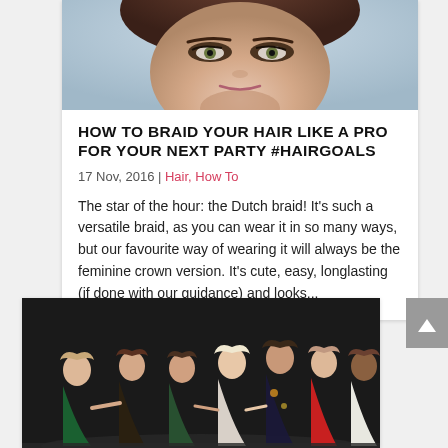[Figure (photo): Close-up beauty photo of a woman's face with smoky eye makeup and brown hair]
HOW TO BRAID YOUR HAIR LIKE A PRO FOR YOUR NEXT PARTY #hairgoals
17 Nov, 2016 | Hair, How To
The star of the hour: the Dutch braid! It's such a versatile braid, as you can wear it in so many ways, but our favourite way of wearing it will always be the feminine crown version. It's cute, easy, longlasting (if done with our guidance) and looks...
[Figure (photo): Group photo of six women in party dresses posing together against a dark background]